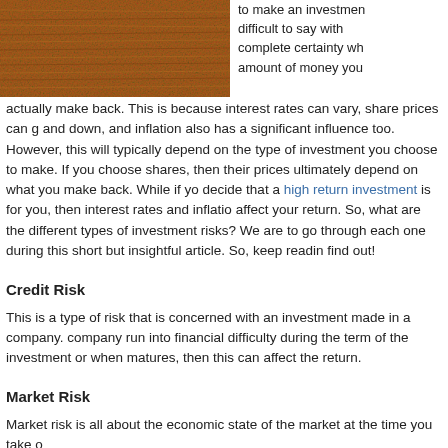[Figure (photo): Close-up photo of brown/orange textured material, possibly animal fur or rough fabric.]
to make an investment difficult to say with complete certainty wh amount of money you actually make back. This is because interest rates can vary, share prices can go and down, and inflation also has a significant influence too. However, this will typically depend on the type of investment you choose to make. If you choose shares, then their prices ultimately depend on what you make back. While if you decide that a high return investment is for you, then interest rates and inflation affect your return. So, what are the different types of investment risks? We are to go through each one during this short but insightful article. So, keep reading find out!
Credit Risk
This is a type of risk that is concerned with an investment made in a company. company run into financial difficulty during the term of the investment or when matures, then this can affect the return.
Market Risk
Market risk is all about the economic state of the market at the time you take o